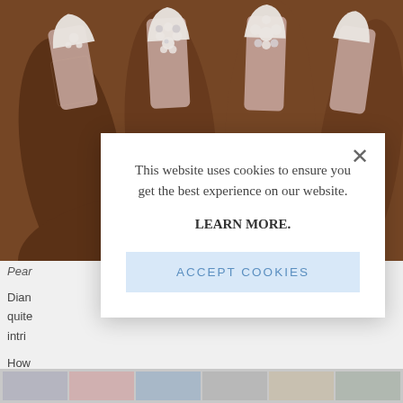[Figure (photo): Close-up photo of hands with long acrylic nails decorated with pearl/bead nail art in white French tip style on dark skin tones]
Pear
Dian quite intri
How way
This website uses cookies to ensure you get the best experience on our website. LEARN MORE.
ACCEPT COOKIES